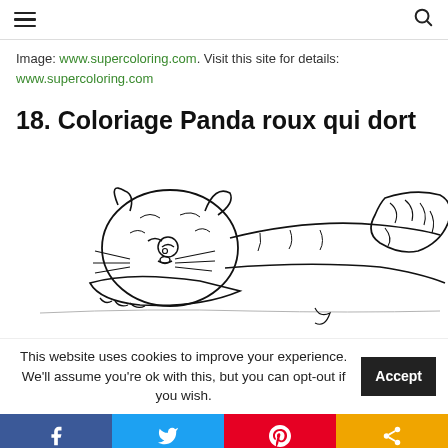≡  🔍
Image: www.supercoloring.com. Visit this site for details: www.supercoloring.com
18. Coloriage Panda roux qui dort
[Figure (illustration): Line drawing coloring page of a sleeping red panda, showing the animal lying down with its head resting on its paws and a fluffy tail visible on the right side.]
This website uses cookies to improve your experience. We'll assume you're ok with this, but you can opt-out if you wish. Accept